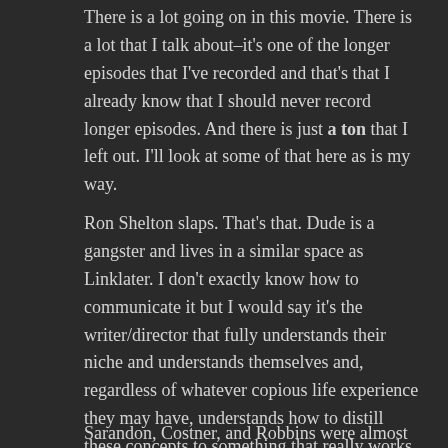There is a lot going on in this movie. There is a lot that I talk about–it's one of the longer episodes that I've recorded and that's that I already know that I should never record longer episodes. And there is just a ton that I left out. I'll look at some of that here as is my way.
Ron Shelton slaps. That's that. Dude is a gangster and lives in a similar space as Linklater. I don't exactly know how to communicate it but I would say it's the writer/director that fully understands their niche and understands themselves and, regardless of whatever copious life experience they may have, understands how to distill these concepts to something that really works in a movie. For more, you can check out my episode on DAZED AND CONFUSED.
Sarandon, Costner, and Robbins were almost picture